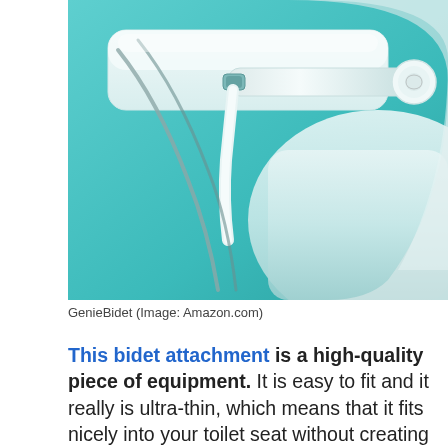[Figure (photo): Close-up photo of a white bidet attachment mounted on a toilet, with a teal/turquoise background. Shows the nozzle mechanism and water hose connection in white plastic with chrome fittings.]
GenieBidet (Image: Amazon.com)
This bidet attachment is a high-quality piece of equipment. It is easy to fit and it really is ultra-thin, which means that it fits nicely into your toilet seat without creating a large gap between the base and the seat, so no bumpers are needed here.